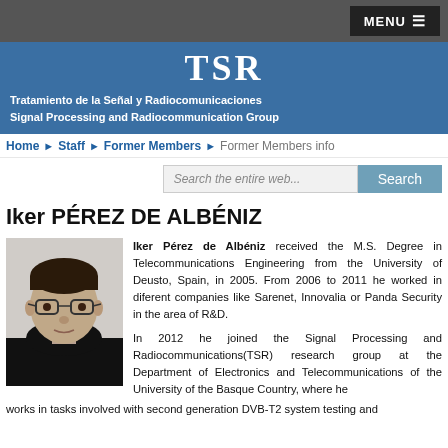MENU ≡
[Figure (logo): TSR logo — Tratamiento de la Señal y Radiocomunicaciones / Signal Processing and Radiocommunication Group on blue background]
Home ▶ Staff ▶ Former Members ▶ Former Members info
Iker PÉREZ DE ALBÉNIZ
[Figure (photo): Portrait photo of Iker Pérez de Albéniz, a man wearing glasses and a black shirt, against a light background]
Iker Pérez de Albéniz received the M.S. Degree in Telecommunications Engineering from the University of Deusto, Spain, in 2005. From 2006 to 2011 he worked in diferent companies like Sarenet, Innovalia or Panda Security in the area of R&D.

In 2012 he joined the Signal Processing and Radiocommunications(TSR) research group at the Department of Electronics and Telecommunications of the University of the Basque Country, where he works in tasks involved with second generation DVB-T2 system testing and